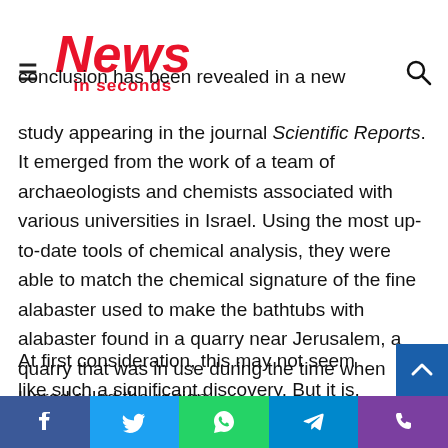News in seconds
conclusion has been revealed in a new study appearing in the journal Scientific Reports. It emerged from the work of a team of archaeologists and chemists associated with various universities in Israel. Using the most up-to-date tools of chemical analysis, they were able to match the chemical signature of the fine alabaster used to make the bathtubs with alabaster found in a quarry near Jerusalem, a quarry that was in use during the time when Herod ruled the region.
At first consideration, this may not seem like such a significant discovery. But it is, because before this research was completed it had long been assumed that all the high-quality alabaster used in the ancient Kingdom of Judea had been imported from Egypt. Now that they know this isn't true
Facebook Twitter WhatsApp Telegram Phone